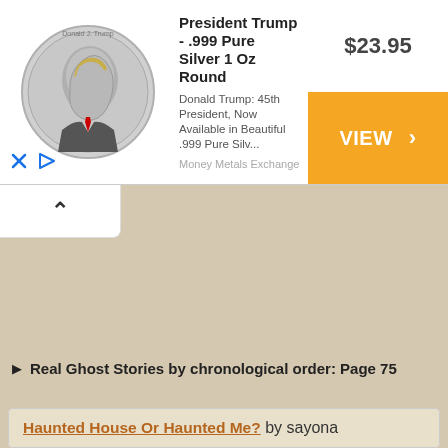[Figure (screenshot): Advertisement banner for President Trump .999 Pure Silver 1 Oz Round coin. Shows coin image on left, product title 'President Trump - .999 Pure Silver 1 Oz Round', description 'Donald Trump: 45th President, Now Available in Beautiful .999 Pure Silv...', source 'Money Metals Exchange', price '$23.95', and orange VIEW button with right arrow.]
^ (collapse/scroll up button)
▶ Real Ghost Stories by chronological order: Page 75
Haunted House Or Haunted Me? by sayona